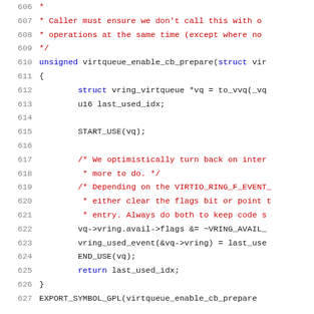Source code listing, lines 606-627, showing virtqueue_enable_cb_prepare function implementation in C